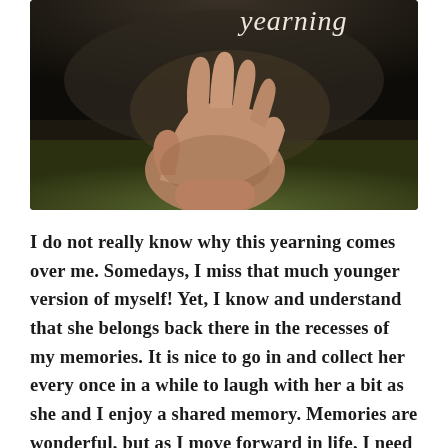[Figure (photo): A dark, moody photograph of an outstretched open hand reaching upward against a blurred outdoor background with dark trees and green grass. The word 'yearning' is written in cursive white script in the upper right corner of the image.]
I do not really know why this yearning comes over me. Somedays, I miss that much younger version of myself! Yet, I know and understand that she belongs back there in the recesses of my memories. It is nice to go in and collect her every once in a while to laugh with her a bit as she and I enjoy a shared memory. Memories are wonderful, but as I move forward in life, I need